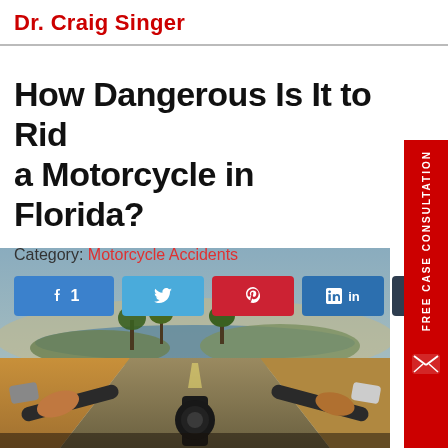Dr. Craig Singer
How Dangerous Is It to Ride a Motorcycle in Florida?
Category: Motorcycle Accidents
[Figure (infographic): Social share buttons row: Facebook (1), Twitter, Pinterest, LinkedIn, Buffer]
[Figure (photo): First-person view from motorcycle handlebars on a scenic Florida coastal road with palm trees and water visible in background, dramatic sky]